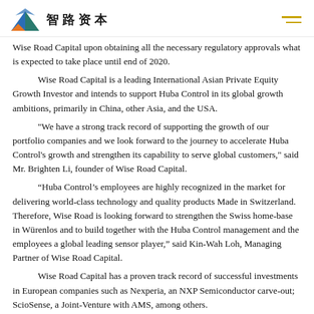智路资本
Wise Road Capital upon obtaining all the necessary regulatory approvals what is expected to take place until end of 2020.
Wise Road Capital is a leading International Asian Private Equity Growth Investor and intends to support Huba Control in its global growth ambitions, primarily in China, other Asia, and the USA.
"We have a strong track record of supporting the growth of our portfolio companies and we look forward to the journey to accelerate Huba Control's growth and strengthen its capability to serve global customers," said Mr. Brighten Li, founder of Wise Road Capital.
“Huba Control’s employees are highly recognized in the market for delivering world-class technology and quality products Made in Switzerland. Therefore, Wise Road is looking forward to strengthen the Swiss home-base in Würenlos and to build together with the Huba Control management and the employees a global leading sensor player,” said Kin-Wah Loh, Managing Partner of Wise Road Capital.
Wise Road Capital has a proven track record of successful investments in European companies such as Nexperia, an NXP Semiconductor carve-out; ScioSense, a Joint-Venture with AMS, among others.